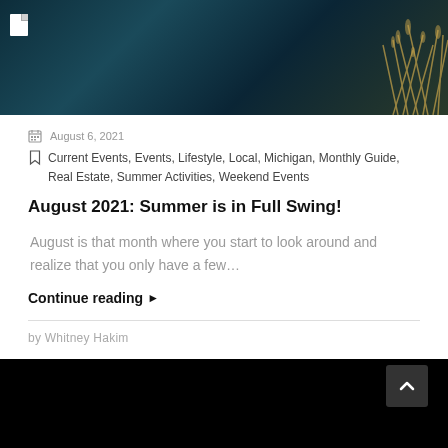[Figure (photo): Dark blue/teal hero image with dried grass/reeds on the right side and a small white file icon in the top-left corner]
August 6, 2021
Current Events, Events, Lifestyle, Local, Michigan, Monthly Guide, Real Estate, Summer Activities, Weekend Events
August 2021: Summer is in Full Swing!
August is that month where you start to look around and realize that you only have a few...
Continue reading ▶
by Whitney Hakim